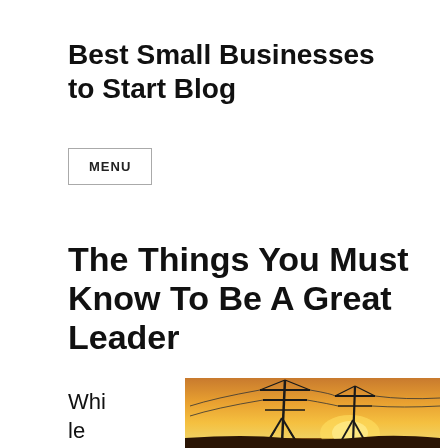Best Small Businesses to Start Blog
MENU
The Things You Must Know To Be A Great Leader
While lear
[Figure (photo): Power transmission line towers silhouetted against a warm orange sunset sky]